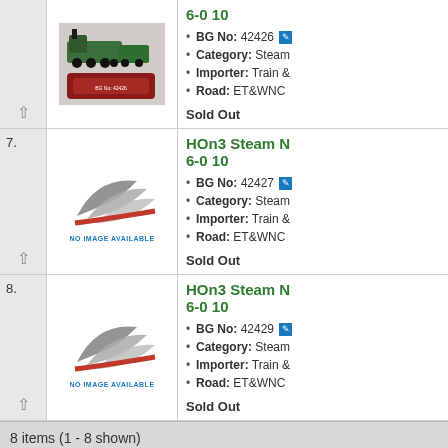[Figure (photo): HOn3 steam locomotive model photo in green, with red display box]
BG No: 42426
Category: Steam
Importer: Train &
Road: ET&WNC
Sold Out
HOn3 Steam N 6-0 10
[Figure (logo): No image available placeholder logo with gray swoosh and red accent]
BG No: 42427
Category: Steam
Importer: Train &
Road: ET&WNC
Sold Out
HOn3 Steam N 6-0 10
[Figure (logo): No image available placeholder logo with gray swoosh and red accent]
BG No: 42429
Category: Steam
Importer: Train &
Road: ET&WNC
Sold Out
8 items (1 - 8 shown)
FEATURES & RESOURCES    HELP CENTER    MY AC